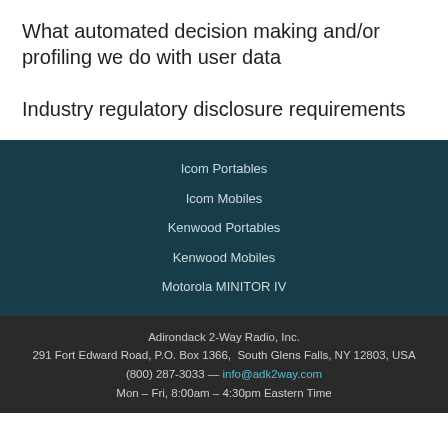What automated decision making and/or profiling we do with user data
Industry regulatory disclosure requirements
Icom Portables
Icom Mobiles
Kenwood Portables
Kenwood Mobiles
Motorola MINITOR IV
Adirondack 2-Way Radio, Inc.
291 Fort Edward Road, P.O. Box 1366,  South Glens Falls, NY 12803, USA
(800) 287-3033 — info@adk2way.com
Mon – Fri, 8:00am – 4:30pm Eastern Time